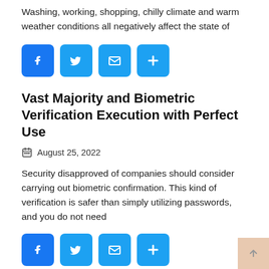Washing, working, shopping, chilly climate and warm weather conditions all negatively affect the state of
[Figure (infographic): Row of four social share buttons: Facebook (blue with F), Twitter (blue with bird), Email (blue with envelope), More (blue with plus sign)]
Vast Majority and Biometric Verification Execution with Perfect Use
August 25, 2022
Security disapproved of companies should consider carrying out biometric confirmation. This kind of verification is safer than simply utilizing passwords, and you do not need
[Figure (infographic): Row of four social share buttons: Facebook (blue with F), Twitter (blue with bird), Email (blue with envelope), More (blue with plus sign)]
Access the Various Stages of Monetary Values in Bad Credit
August 24, 2022